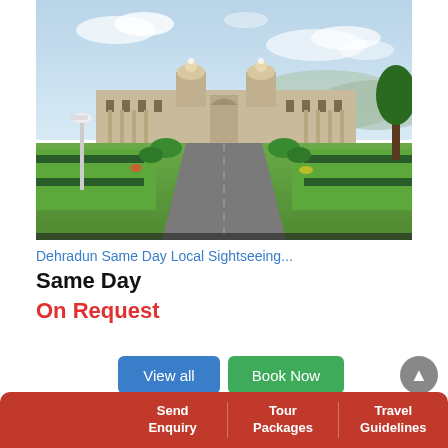[Figure (photo): A wide colonial-style building with twin domed towers, viewed from a long straight driveway flanked by green lawns and fencing, under a blue sky with light clouds. A lamppost stands on the left side.]
Dehradun Same Day Local Sightseeing...
Same Day
On Request
View all
Book Now
Send Enquiry
Tour Packages
Travel Guidelines